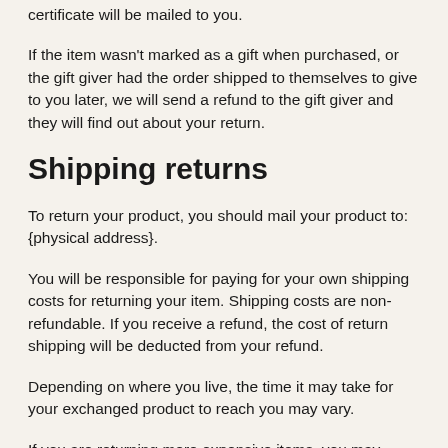certificate will be mailed to you.
If the item wasn't marked as a gift when purchased, or the gift giver had the order shipped to themselves to give to you later, we will send a refund to the gift giver and they will find out about your return.
Shipping returns
To return your product, you should mail your product to: {physical address}.
You will be responsible for paying for your own shipping costs for returning your item. Shipping costs are non-refundable. If you receive a refund, the cost of return shipping will be deducted from your refund.
Depending on where you live, the time it may take for your exchanged product to reach you may vary.
If you are returning more expensive items, you may consider